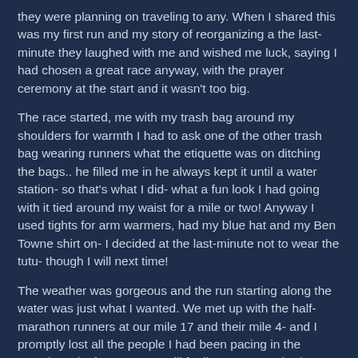they were planning on traveling to any. When I shared this was my first run and my story of reorganizing a the last-minute they laughed with me and wished me luck, saying I had chosen a great race anyway, with the prayer ceremony at the start and it wasn't too big.
The race started, me with my trash bag around my shoulders for warmth I had to ask one of the other trash bag wearing runners what the etiquette was on ditching the bags.. he filled me in he always kept it until a water station- so that's what I did- what a fun look I had going with it tied around my waist for a mile or two! Anyway I used tights for arm warmers, had my blue hat and my Ben Towne shirt on- I decided at the last-minute not to wear the tutu- though I will next time!
The weather was gorgeous and the run starting along the water was just what I wanted. We met up with the half-marathon runners at our mile 17 and their mile 4- and I promptly lost all the people I had been pacing in the crowd! Lucky for me I was still feeling GREAT. I had